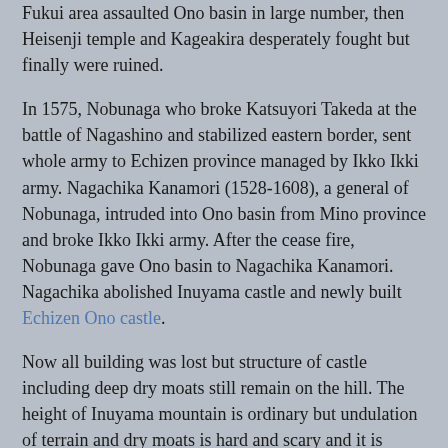Fukui area assaulted Ono basin in large number, then Heisenji temple and Kageakira desperately fought but finally were ruined.
In 1575, Nobunaga who broke Katsuyori Takeda at the battle of Nagashino and stabilized eastern border, sent whole army to Echizen province managed by Ikko Ikki army. Nagachika Kanamori (1528-1608), a general of Nobunaga, intruded into Ono basin from Mino province and broke Ikko Ikki army. After the cease fire, Nobunaga gave Ono basin to Nagachika Kanamori. Nagachika abolished Inuyama castle and newly built Echizen Ono castle.
Now all building was lost but structure of castle including deep dry moats still remain on the hill. The height of Inuyama mountain is ordinary but undulation of terrain and dry moats is hard and scary and it is necessary to take care not to slip. Webmaster could not go down from central area to southward hill, as the guide rope is pressed to the ground by fallen trees and could not grip it well. Deep dry moats shows military importance of this castle, and also reminds deep rift between Yoshikage Asakura and Kageakira Asakura.
Access